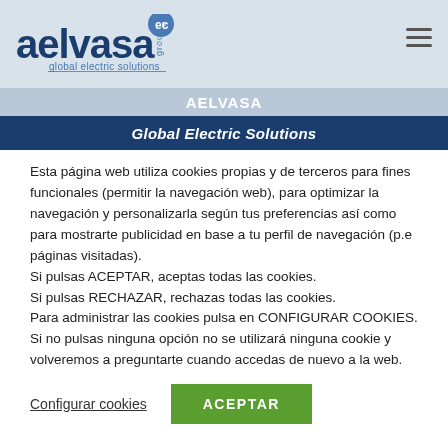[Figure (logo): Aelvasa Group logo with 'global electric solutions' tagline and circular ECU icon]
AELVASA
Global Electric Solutions
Esta página web utiliza cookies propias y de terceros para fines funcionales (permitir la navegación web), para optimizar la navegación y personalizarla según tus preferencias así como para mostrarte publicidad en base a tu perfil de navegación (p.e páginas visitadas). Si pulsas ACEPTAR, aceptas todas las cookies. Si pulsas RECHAZAR, rechazas todas las cookies. Para administrar las cookies pulsa en CONFIGURAR COOKIES. Si no pulsas ninguna opción no se utilizará ninguna cookie y volveremos a preguntarte cuando accedas de nuevo a la web.
Configurar cookies
ACEPTAR